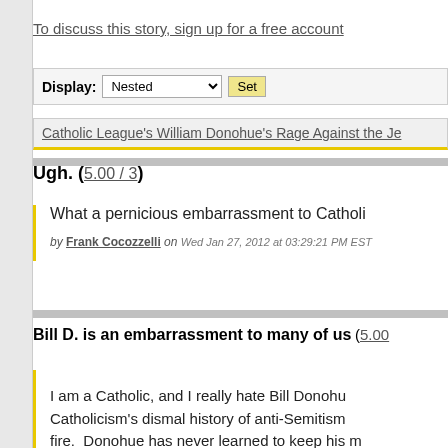To discuss this story, sign up for a free account
Display: Nested Set
Catholic League's William Donohue's Rage Against the Je...
Ugh. (5.00 / 3)
What a pernicious embarrassment to Catholi...
by Frank Cocozzelli on Wed Jan 27, 2012 at 03:29:21 PM EST
Bill D. is an embarrassment to many of us (5.00...
I am a Catholic, and I really hate Bill Donohu... Catholicism's dismal history of anti-Semitism... fire.  Donohue has never learned to keep his m... so, Bill doesn't speak for me as a Catholic, bu...